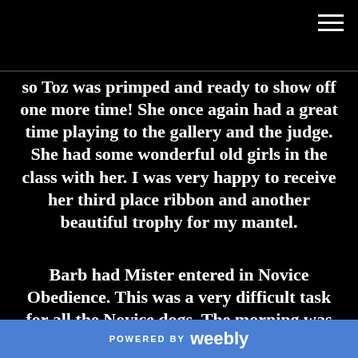so Toz was primped and ready to show off one more time! She once again had a great time playing to the gallery and the judge. She had some wonderful old girls in the class with her. I was very happy to receive her third place ribbon and another beautiful trophy for my mantel.
Barb had Mister entered in Novice Obedience. This was a very difficult task for all the Novice dogs. The morning was breezy, sunny and cool. Perfect portic playing weather! Mister's nose
POWERED BY weebly